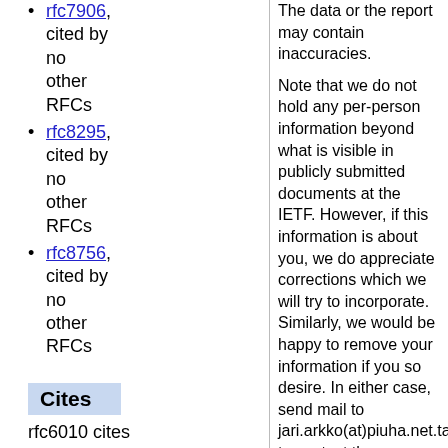rfc7906, cited by no other RFCs
rfc8295, cited by no other RFCs
rfc8756, cited by no other RFCs
Cites
rfc6010 cites the following 16 RFCs:
rfc2119, cited by 4823
The data or the report may contain inaccuracies.

Note that we do not hold any per-person information beyond what is visible in publicly submitted documents at the IETF. However, if this information is about you, we do appreciate corrections which we will try to incorporate. Similarly, we would be happy to remove your information if you so desire. In either case, send mail to jari.arkko(at)piuha.net.takeaway to contact the developer. Please use a subject line that includes the word authorstats. Our privacy policy can be found in here.